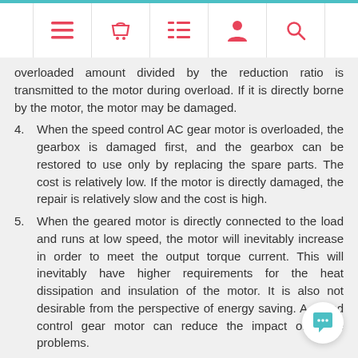Navigation bar with icons: menu, basket, list, account, search
overloaded amount divided by the reduction ratio is transmitted to the motor during overload. If it is directly borne by the motor, the motor may be damaged.
4. When the speed control AC gear motor is overloaded, the gearbox is damaged first, and the gearbox can be restored to use only by replacing the spare parts. The cost is relatively low. If the motor is directly damaged, the repair is relatively slow and the cost is high.
5. When the geared motor is directly connected to the load and runs at low speed, the motor will inevitably increase in order to meet the output torque current. This will inevitably have higher requirements for the heat dissipation and insulation of the motor. It is also not desirable from the perspective of energy saving. A speed control gear motor can reduce the impact of these problems.